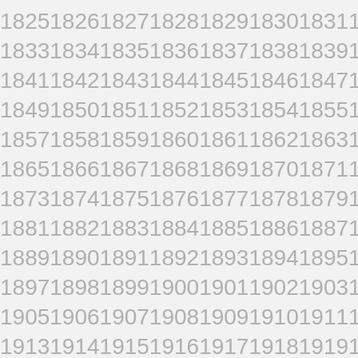18251826182718281829183018311832
18331834183518361837183818391840
18411842184318441845184618471848
18491850185118521853185418551856
18571858185918601861186218631864
18651866186718681869187018711872
18731874187518761877187818791880
18811882188318841885188618871888
18891890189118921893189418951896
18971898189919001901190219031904
19051906190719081909191019111912
19131914191519161917191819191920
19211922192319241925192619271928